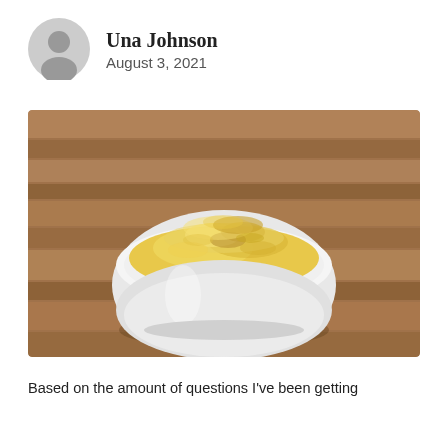Una Johnson
August 3, 2021
[Figure (photo): A white ceramic bowl filled with yellow-golden powder (likely nutritional yeast or mustard powder) placed on a wooden surface with natural wood grain background.]
Based on the amount of questions I've been getting